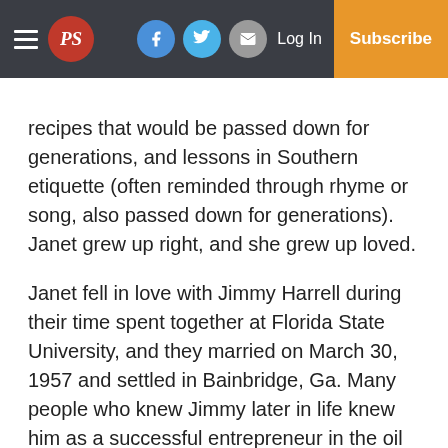PS | Log In | Subscribe
recipes that would be passed down for generations, and lessons in Southern etiquette (often reminded through rhyme or song, also passed down for generations).  Janet grew up right, and she grew up loved.
Janet fell in love with Jimmy Harrell during their time spent together at Florida State University, and they married on March 30, 1957 and settled in Bainbridge, Ga. Many people who knew Jimmy later in life knew him as a successful entrepreneur in the oil and convenience store industry and Janet as his doting wife, but many people do not know that this